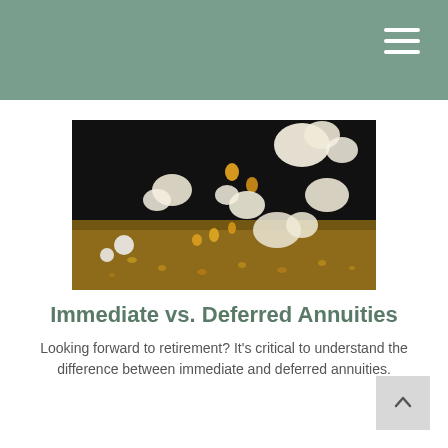[Figure (photo): Close-up photo of popcorn kernels popping against a dark background, with popped and unpopped kernels scattered on a surface]
Immediate vs. Deferred Annuities
Looking forward to retirement? It's critical to understand the difference between immediate and deferred annuities.